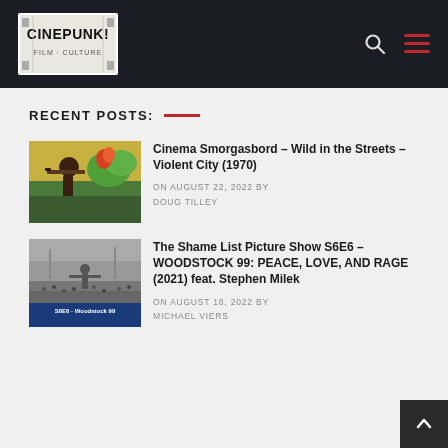CINEPUNK!
RECENT POSTS:
[Figure (photo): Movie still thumbnail: person aiming a rifle, colorful background (Wild in the Streets / Violent City 1970)]
Cinema Smorgasbord – Wild in the Streets – Violent City (1970)
ON AUGUST 22, 2022 BY DOUG TILLEY
[Figure (photo): Movie still thumbnail: black and white crowd scene, Woodstock 99 show poster]
The Shame List Picture Show S6E6 – WOODSTOCK 99: PEACE, LOVE, AND RAGE (2021) feat. Stephen Milek
ON AUGUST 18, 2022 BY MICHAEL VIERS